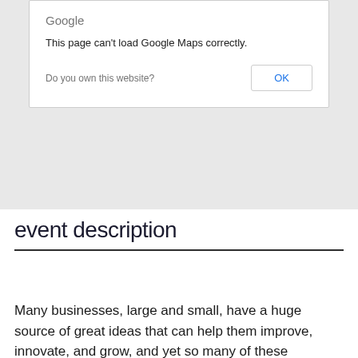[Figure (screenshot): Google Maps error dialog box on a grey map background. Dialog shows 'Google' logo text, message 'This page can't load Google Maps correctly.', 'Do you own this website?' text and an 'OK' button.]
event description
Many businesses, large and small, have a huge source of great ideas that can help them improve, innovate, and grow, and yet so many of these companies never